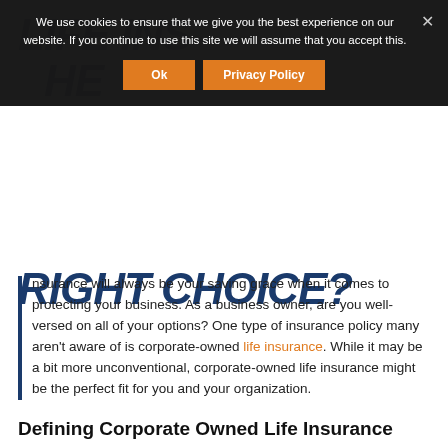LIFE INSURANCE: THE RIGHT CHOICE?
Insurance will always be your saving grace when it comes to protecting your business. As a business owner, are you well-versed on all of your options? One type of insurance policy many aren't aware of is corporate-owned life insurance. While it may be a bit more unconventional, corporate-owned life insurance might be the perfect fit for you and your organization.
Defining Corporate Owned Life Insurance
The main distinction with corporate-owned life insurance is that it is a policy that is purchased by a company, rather than by a